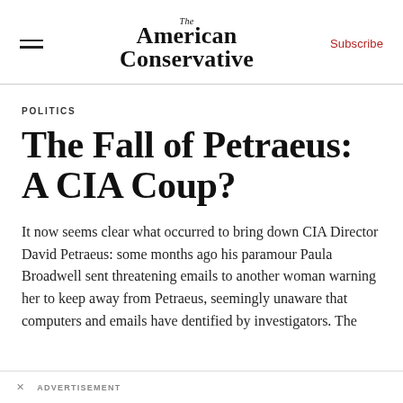The American Conservative | Subscribe
POLITICS
The Fall of Petraeus: A CIA Coup?
It now seems clear what occurred to bring down CIA Director David Petraeus: some months ago his paramour Paula Broadwell sent threatening emails to another woman warning her to keep away from Petraeus, seemingly unaware that computers and emails have dentified by investigators. The
× ADVERTISEMENT